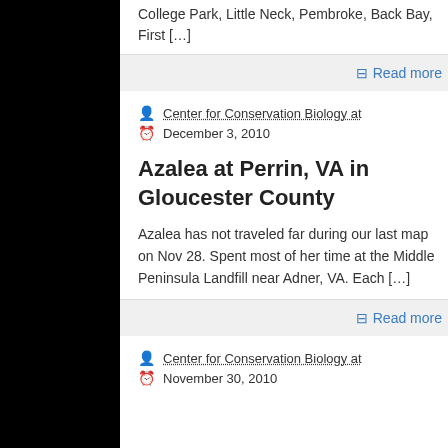College Park, Little Neck, Pembroke, Back Bay, First […]
Read more
Center for Conservation Biology at December 3, 2010
Azalea at Perrin, VA in Gloucester County
Azalea has not traveled far during our last map on Nov 28. Spent most of her time at the Middle Peninsula Landfill near Adner, VA. Each […]
Read more
Center for Conservation Biology at November 30, 2010